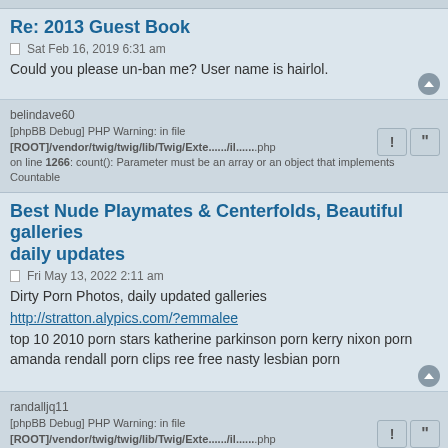Re: 2013 Guest Book
Sat Feb 16, 2019 6:31 am
Could you please un-ban me? User name is hairlol.
belindave60
[phpBB Debug] PHP Warning: in file [ROOT]/vendor/twig/twig/lib/Twig/Exte....../il......php on line 1266: count(): Parameter must be an array or an object that implements Countable
Best Nude Playmates & Centerfolds, Beautiful galleries daily updates
Fri May 13, 2022 2:11 am
Dirty Porn Photos, daily updated galleries
http://stratton.alypics.com/?emmalee
top 10 2010 porn stars katherine parkinson porn kerry nixon porn amanda rendall porn clips ree free nasty lesbian porn
randalljq11
[phpBB Debug] PHP Warning: in file [ROOT]/vendor/twig/twig/lib/Twig/Exte....../il......php on line 1266: count(): Parameter must be an array or an object that implements Countable
Hot teen pics
Sat Jul 02, 2022 2:56 pm